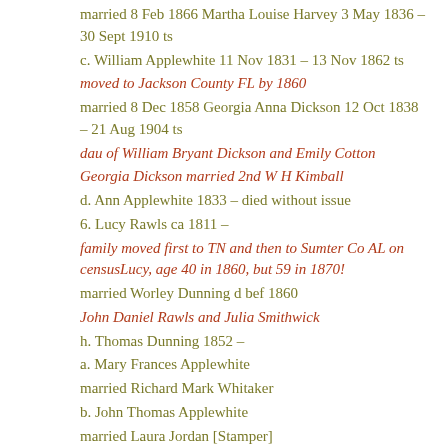married 8 Feb 1866 Martha Louise Harvey 3 May 1836 – 30 Sept 1910 ts
c. William Applewhite 11 Nov 1831 – 13 Nov 1862 ts
moved to Jackson County FL by 1860
married 8 Dec 1858 Georgia Anna Dickson 12 Oct 1838 – 21 Aug 1904 ts
dau of William Bryant Dickson and Emily Cotton
Georgia Dickson married 2nd W H Kimball
d. Ann Applewhite 1833 – died without issue
6. Lucy Rawls ca 1811 –
family moved first to TN and then to Sumter Co AL on censusLucy, age 40 in 1860, but 59 in 1870!
married Worley Dunning d bef 1860
John Daniel Rawls and Julia Smithwick
h. Thomas Dunning 1852 –
a. Mary Frances Applewhite
married Richard Mark Whitaker
b. John Thomas Applewhite
married Laura Jordan [Stamper]